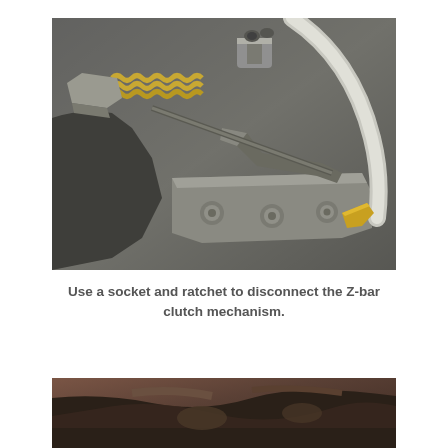[Figure (photo): Close-up photograph of a Z-bar clutch mechanism on a vehicle engine, showing metal brackets, bolts, springs, cables, and hoses in a cluttered engine bay.]
Use a socket and ratchet to disconnect the Z-bar clutch mechanism.
[Figure (photo): Partial close-up photograph of vehicle undercarriage components, partially visible at the bottom of the page.]